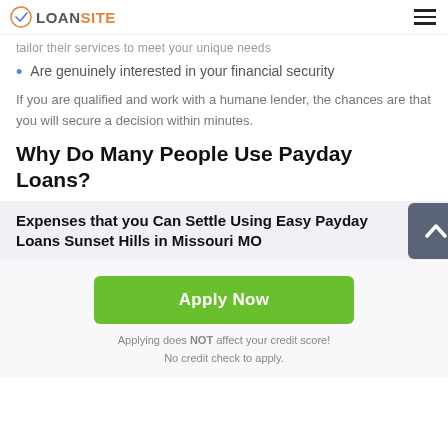LOANSITE
tailor their services to meet your unique needs
Are genuinely interested in your financial security
If you are qualified and work with a humane lender, the chances are that you will secure a decision within minutes.
Why Do Many People Use Payday Loans?
Expenses that you Can Settle Using Easy Payday Loans Sunset Hills in Missouri MO
[Figure (other): Green Apply Now button with scroll-up arrow icon]
Applying does NOT affect your credit score!
No credit check to apply.